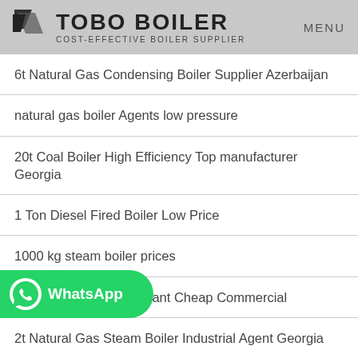TOBO BOILER COST-EFFECTIVE BOILER SUPPLIER | MENU
6t Natural Gas Condensing Boiler Supplier Azerbaijan
natural gas boiler Agents low pressure
20t Coal Boiler High Efficiency Top manufacturer Georgia
1 Ton Diesel Fired Boiler Low Price
1000 kg steam boiler prices
2t Natural Gas Boiler Plant Cheap Commercial
[Figure (other): WhatsApp contact button — green rounded rectangle with WhatsApp logo and text 'WhatsApp']
2t Natural Gas Steam Boiler Industrial Agent Georgia